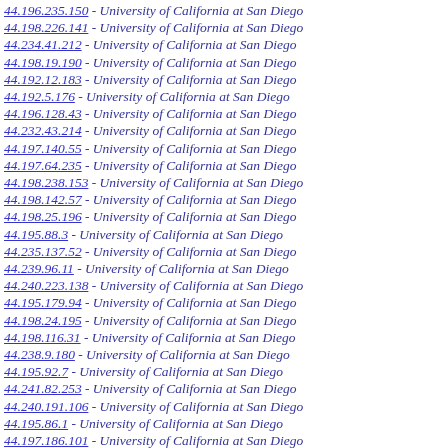44.196.235.150 - University of California at San Diego
44.198.226.141 - University of California at San Diego
44.234.41.212 - University of California at San Diego
44.198.19.190 - University of California at San Diego
44.192.12.183 - University of California at San Diego
44.192.5.176 - University of California at San Diego
44.196.128.43 - University of California at San Diego
44.232.43.214 - University of California at San Diego
44.197.140.55 - University of California at San Diego
44.197.64.235 - University of California at San Diego
44.198.238.153 - University of California at San Diego
44.198.142.57 - University of California at San Diego
44.198.25.196 - University of California at San Diego
44.195.88.3 - University of California at San Diego
44.235.137.52 - University of California at San Diego
44.239.96.11 - University of California at San Diego
44.240.223.138 - University of California at San Diego
44.195.179.94 - University of California at San Diego
44.198.24.195 - University of California at San Diego
44.198.116.31 - University of California at San Diego
44.238.9.180 - University of California at San Diego
44.195.92.7 - University of California at San Diego
44.241.82.253 - University of California at San Diego
44.240.191.106 - University of California at San Diego
44.195.86.1 - University of California at San Diego
44.197.186.101 - University of California at San Diego
44.192.57.228 - University of California at San Diego
44.238.220.135 - University of California at San Diego
44.194.91.6 - University of California at San Diego
44.193.214.129 - University of California at San Diego
44.193.107.00 - University of California at San Diego